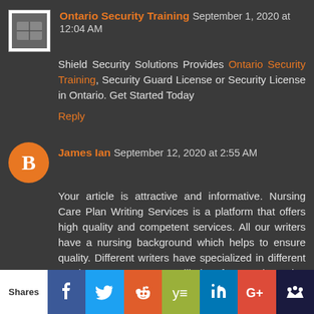Ontario Security Training September 1, 2020 at 12:04 AM
Shield Security Solutions Provides Ontario Security Training, Security Guard License or Security License in Ontario. Get Started Today
Reply
James Ian September 12, 2020 at 2:55 AM
Your article is attractive and informative. Nursing Care Plan Writing Services is a platform that offers high quality and competent services. All our writers have a nursing background which helps to ensure quality. Different writers have specialized in different nursing areas. Our team will, therefore, work nursing care plans for patients with different diagnoses to perfection. They then provide you with the intervention measures to use in the patient care procedure